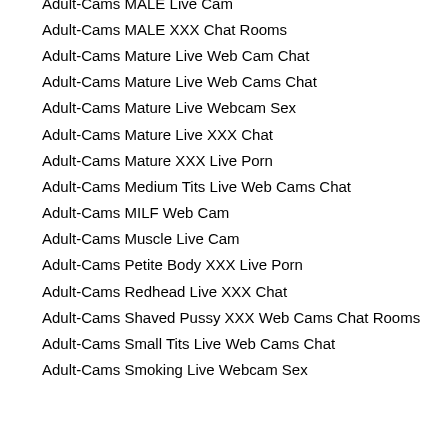Adult-Cams MALE Live Cam
Adult-Cams MALE XXX Chat Rooms
Adult-Cams Mature Live Web Cam Chat
Adult-Cams Mature Live Web Cams Chat
Adult-Cams Mature Live Webcam Sex
Adult-Cams Mature Live XXX Chat
Adult-Cams Mature XXX Live Porn
Adult-Cams Medium Tits Live Web Cams Chat
Adult-Cams MILF Web Cam
Adult-Cams Muscle Live Cam
Adult-Cams Petite Body XXX Live Porn
Adult-Cams Redhead Live XXX Chat
Adult-Cams Shaved Pussy XXX Web Cams Chat Rooms
Adult-Cams Small Tits Live Web Cams Chat
Adult-Cams Smoking Live Webcam Sex